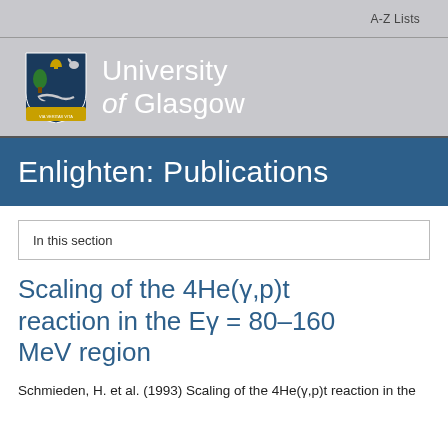A-Z Lists
[Figure (logo): University of Glasgow logo with crest and text]
Enlighten: Publications
In this section
Scaling of the 4He(γ,p)t reaction in the Eγ = 80–160 MeV region
Schmieden, H. et al. (1993) Scaling of the 4He(γ,p)t reaction in the